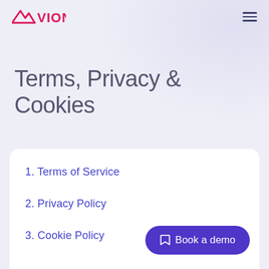AVION
Terms, Privacy & Cookies
1. Terms of Service
2. Privacy Policy
3. Cookie Policy